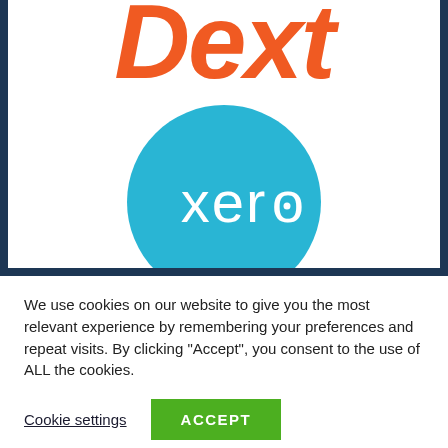[Figure (logo): Dext logo in orange bold italic text, partially cropped at top]
[Figure (logo): Xero logo: white 'xero' text with circle dot on 'o' inside a solid sky-blue circle]
We use cookies on our website to give you the most relevant experience by remembering your preferences and repeat visits. By clicking “Accept”, you consent to the use of ALL the cookies.
Cookie settings
ACCEPT